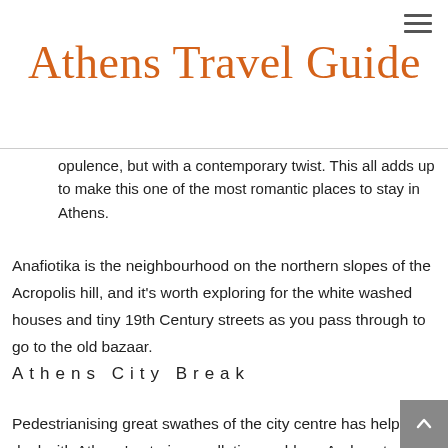≡
Athens Travel Guide
opulence, but with a contemporary twist. This all adds up to make this one of the most romantic places to stay in Athens.
Anafiotika is the neighbourhood on the northern slopes of the Acropolis hill, and it's worth exploring for the white washed houses and tiny 19th Century streets as you pass through to go to the old bazaar.
Athens City Break
Pedestrianising great swathes of the city centre has helped deal with Athens' notorious pollution problem. And central